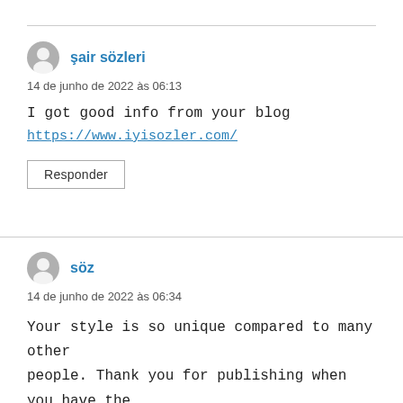şair sözleri
14 de junho de 2022 às 06:13
I got good info from your blog
https://www.iyisozler.com/
Responder
söz
14 de junho de 2022 às 06:34
Your style is so unique compared to many other people. Thank you for publishing when you have the